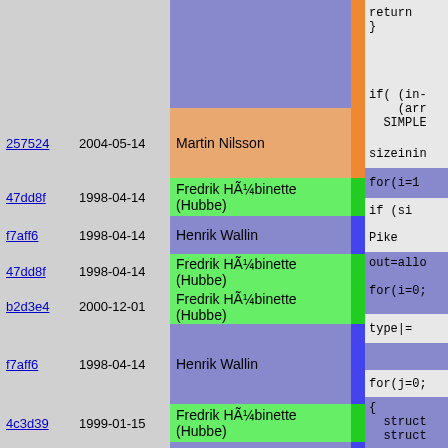| hash | date | author | bar | code |
| --- | --- | --- | --- | --- |
|  |  |  |  | return
} |
| 257524 | 2004-05-14 | Martin Nilsson | orange | if( (in-
    (arr
  SIMPLE |
| 47dd8f | 1998-04-14 | Fredrik HÃ¼binette (Hubbe) | green | sizeinin |
| f7aff6 | 1998-04-14 | Henrik Wallin | blue | for(i=1 |
| 47dd8f | 1998-04-14 | Fredrik HÃ¼binette (Hubbe) | green | if (si |
| b2d3e4 | 2000-12-01 | Fredrik HÃ¼binette (Hubbe) | green | Pike |
| f7aff6 | 1998-04-14 | Henrik Wallin | blue | out=allo

for(i=0; |
| 4c3d39 | 1999-01-15 | Fredrik HÃ¼binette (Hubbe) | green | type|= |
| f7aff6 | 1998-04-14 | Henrik Wallin | blue |  |
| 47dd8f | 1998-04-14 | Fredrik HÃ¼binette (Hubbe) | green | for(j=0; |
| f7aff6 | 1998-04-14 | Henrik Wallin | blue | {
  struct
  struct |
| 47dd8f | 1998-04-14 | Fredrik HÃ¼binette (Hubbe) | green |  |